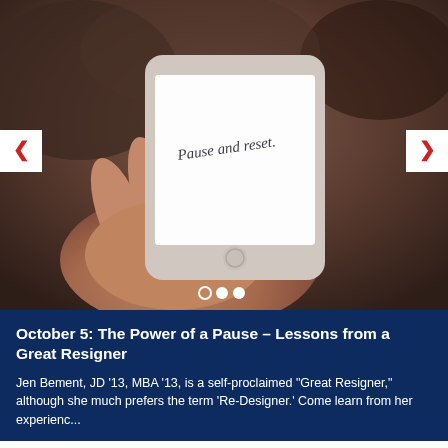[Figure (photo): A hand holding a smartphone with the screen displaying the handwritten text 'Pause and reset.' The background is blurred and dark brownish. Navigation arrows (left and right chevrons in red/white boxes) are visible on either side of the image. Three dots (carousel indicator) appear at the bottom center — one empty circle followed by two filled circles.]
October 5: The Power of a Pause – Lessons from a Great Resigner
Jen Bement, JD '13, MBA '13, is a self-proclaimed "Great Resigner," although she much prefers the term 'Re-Designer.' Come learn from her experienc...